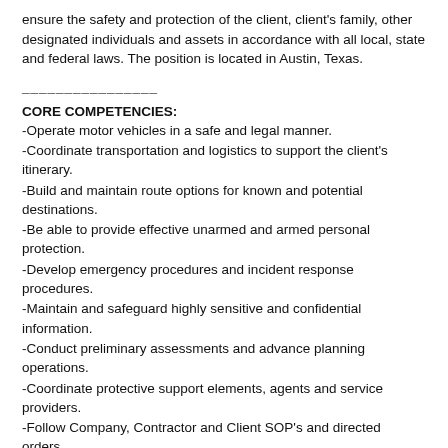ensure the safety and protection of the client, client's family, other designated individuals and assets in accordance with all local, state and federal laws. The position is located in Austin, Texas.
________________
CORE COMPETENCIES:
-Operate motor vehicles in a safe and legal manner.
-Coordinate transportation and logistics to support the client's itinerary.
-Build and maintain route options for known and potential destinations.
-Be able to provide effective unarmed and armed personal protection.
-Develop emergency procedures and incident response procedures.
-Maintain and safeguard highly sensitive and confidential information.
-Conduct preliminary assessments and advance planning operations.
-Coordinate protective support elements, agents and service providers.
-Follow Company, Contractor and Client SOP's and directed orders.
-Maintain a high level of physical fitness and professional personal appearance.
-Domestic and overseas travel on short notice, approximately 10-25% of the time.